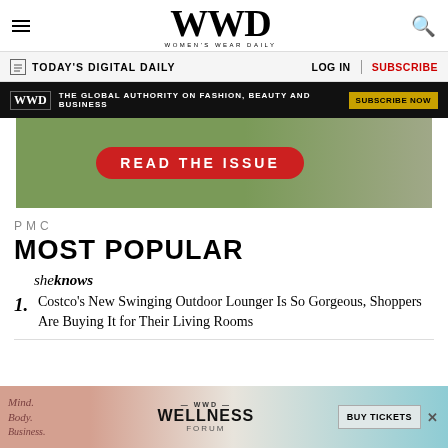WWD — Women's Wear Daily
TODAY'S DIGITAL DAILY | LOG IN | SUBSCRIBE
[Figure (screenshot): WWD black advertisement banner: THE GLOBAL AUTHORITY ON FASHION, BEAUTY AND BUSINESS | SUBSCRIBE NOW]
[Figure (photo): Advertisement: READ THE ISSUE button on outdoor hammock background]
PMC
MOST POPULAR
sheknows
1. Costco's New Swinging Outdoor Lounger Is So Gorgeous, Shoppers Are Buying It for Their Living Rooms
[Figure (screenshot): Bottom advertisement: WWD WELLNESS FORUM | BUY TICKETS | Mind. Body. Business.]